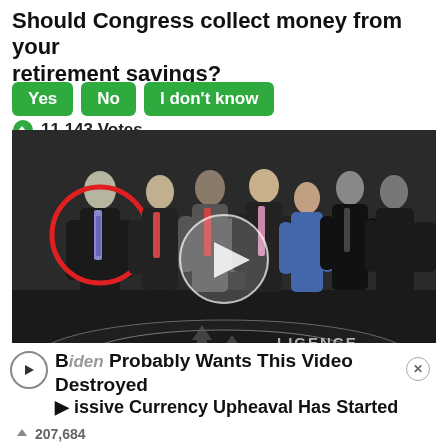Should Congress collect money from your retirement savings?
Yes
No
I don't know
11,143 Votes
[Figure (photo): Group of people in suits standing in the CIA headquarters lobby with the CIA seal on the floor. One person on the left is circled in red. A video play button is overlaid in the center.]
Biden Probably Wants This Video Destroyed
...issive Currency Upheaval Has Started
207,684